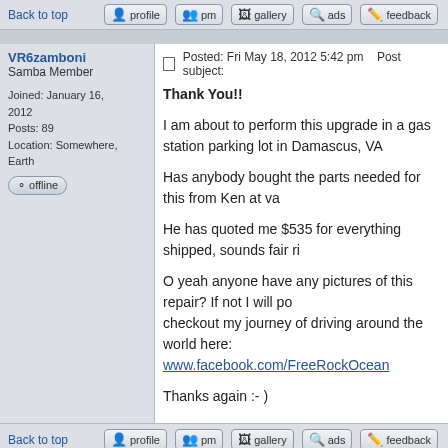Back to top | profile | pm | gallery | ads | feedback
VR6zamboni
Samba Member
Joined: January 16, 2012
Posts: 89
Location: Somewhere, Earth
[offline]
Posted: Fri May 18, 2012 5:42 pm    Post subject:

Thank You!!

I am about to perform this upgrade in a gas station parking lot in Damascus, VA

Has anybody bought the parts needed for this from Ken at va...

He has quoted me $535 for everything shipped, sounds fair ri...

O yeah anyone have any pictures of this repair? If not I will po... checkout my journey of driving around the world here:
www.facebook.com/FreeRockOcean

Thanks again :- )
Back to top | profile | pm | gallery | ads | feedback
nemobuscaptain
Samba Member
Posted: Fri May 18, 2012 6:53 pm    Post subject: